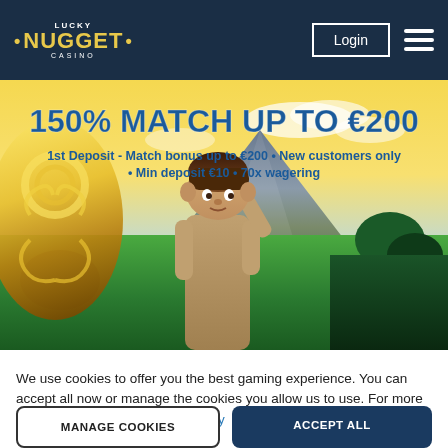Lucky Nugget Casino - Login menu
[Figure (illustration): Lucky Nugget Casino promotional banner showing an adventure character with gold artifact, jungle and mountain background. Text overlay reads: 150% MATCH UP TO €200. 1st Deposit - Match bonus up to €200 • New customers only • Min deposit €10 • 70x wagering]
We use cookies to offer you the best gaming experience. You can accept all now or manage the cookies you allow us to use. For more info, please read our Cookie Policy
MANAGE COOKIES
ACCEPT ALL